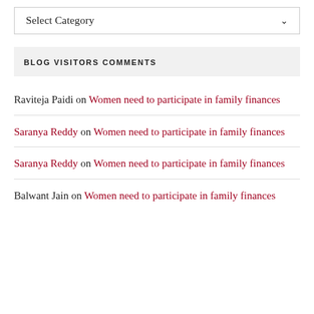Select Category
BLOG VISITORS COMMENTS
Raviteja Paidi on Women need to participate in family finances
Saranya Reddy on Women need to participate in family finances
Saranya Reddy on Women need to participate in family finances
Balwant Jain on Women need to participate in family finances